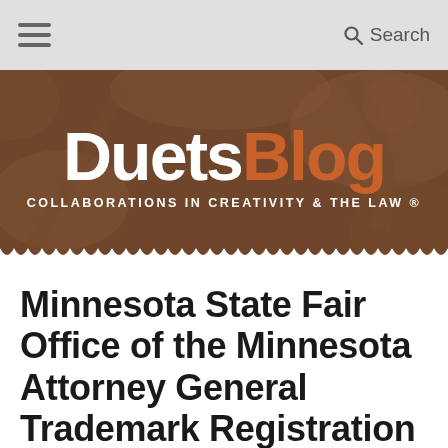≡   Search
[Figure (logo): DuetsBlog banner with illustrated floral/botanical background in brown tones. Logo text reads 'Duets' in white bold and 'Blog' in orange bold. Tagline reads 'COLLABORATIONS IN CREATIVITY & THE LAW ®']
Minnesota State Fair Office of the Minnesota Attorney General Trademark Registration Trademark Attorney